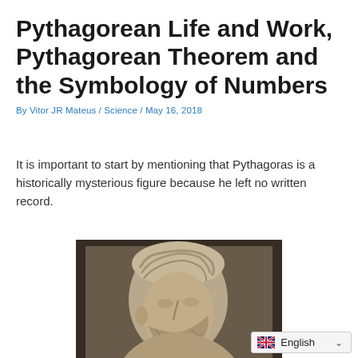Pythagorean Life and Work, Pythagorean Theorem and the Symbology of Numbers
By Vitor JR Mateus / Science / May 16, 2018
It is important to start by mentioning that Pythagoras is a historically mysterious figure because he left no written record.
[Figure (photo): Stone or marble bust/relief sculpture of a bearded figure, likely a classical depiction of Pythagoras, photographed against a dark stone background.]